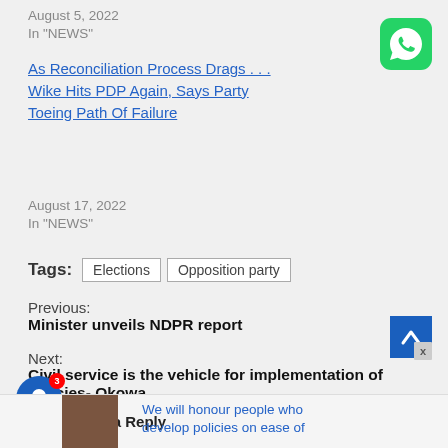August 5, 2022
In "NEWS"
As Reconciliation Process Drags . . . Wike Hits PDP Again, Says Party Toeing Path Of Failure
August 17, 2022
In "NEWS"
[Figure (logo): WhatsApp green icon with white chat bubble]
Tags: Elections  Opposition party
Previous:
Minister unveils NDPR report
Next:
Civil service is the vehicle for implementation of policies- Okowa
[Figure (other): Blue back-to-top arrow button]
[Figure (other): Blue notification bell button with red badge showing 3]
Leave a Reply
We will honour people who develop policies on ease of